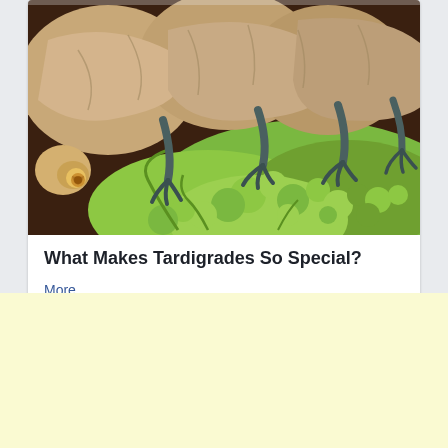[Figure (photo): Close-up electron microscope image of a tardigrade (water bear) showing its segmented tan/brown body with clawed legs, eating or touching bright green algae or moss material]
What Makes Tardigrades So Special?
More...
184  46  61
[Figure (other): Light yellow/cream colored advertisement banner area]